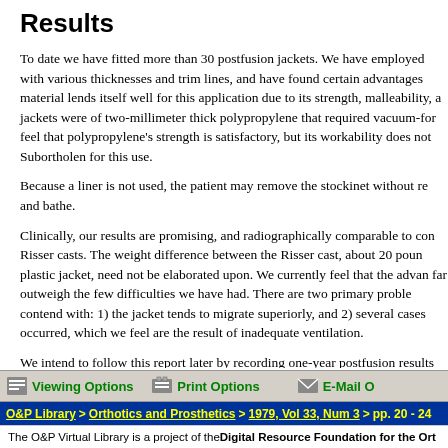Results
To date we have fitted more than 30 postfusion jackets. We have employed with various thicknesses and trim lines, and have found certain advantages material lends itself well for this application due to its strength, malleability, a jackets were of two-millimeter thick polypropylene that required vacuum-for feel that polypropylene's strength is satisfactory, but its workability does not Subortholen for this use.
Because a liner is not used, the patient may remove the stockinet without re and bathe.
Clinically, our results are promising, and radiographically comparable to con Risser casts. The weight difference between the Risser cast, about 20 poun plastic jacket, need not be elaborated upon. We currently feel that the advan far outweigh the few difficulties we have had. There are two primary proble contend with: 1) the jacket tends to migrate superiorly, and 2) several cases occurred, which we feel are the result of inadequate ventilation.
We intend to follow this report later by recording one-year postfusion results been recording age, sex, casting technique (preoperative or postoperative), thickness of the material, initial postoperative degree of curvature, and one curvature for each patient.
Viewing Options   Print Options   E-Mail O
O&P Library > Orthotics and Prosthetics > 1979, Vol 33, Num 3 > pp. 20 - 24
The O&P Virtual Library is a project of the Digital Resource Foundation for the Ort